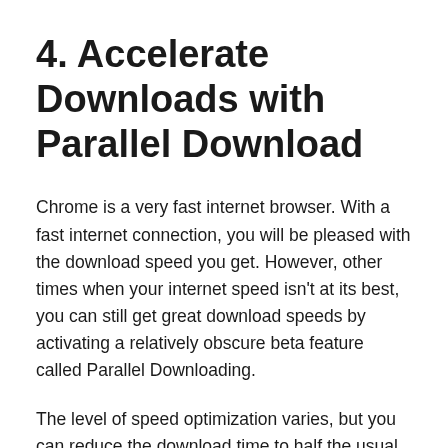4. Accelerate Downloads with Parallel Download
Chrome is a very fast internet browser. With a fast internet connection, you will be pleased with the download speed you get. However, other times when your internet speed isn't at its best, you can still get great download speeds by activating a relatively obscure beta feature called Parallel Downloading.
The level of speed optimization varies, but you can reduce the download time to half the usual time. No – just in case you're